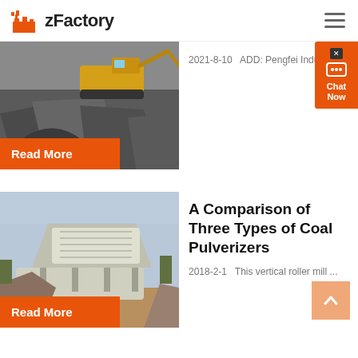[Figure (logo): zFactory logo with orange factory icon and bold text 'zFactory']
[Figure (photo): Mining excavator and rocks - industrial quarry scene]
2021-8-10   ADD: Pengfei Industr...
Read More
[Figure (photo): Industrial coal pulverizer machine outdoors with piles of coal]
A Comparison of Three Types of Coal Pulverizers
2018-2-1   This vertical roller mill ...
Read More